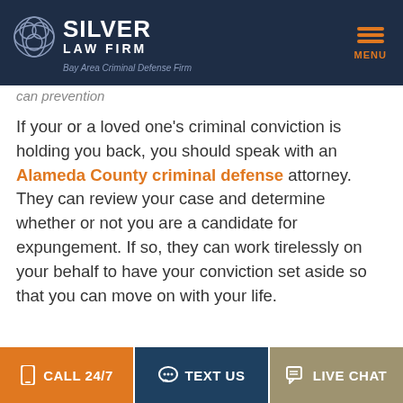SILVER LAW FIRM — Bay Area Criminal Defense Firm
If your or a loved one's criminal conviction is holding you back, you should speak with an Alameda County criminal defense attorney. They can review your case and determine whether or not you are a candidate for expungement. If so, they can work tirelessly on your behalf to have your conviction set aside so that you can move on with your life.
CALL 24/7   TEXT US   LIVE CHAT